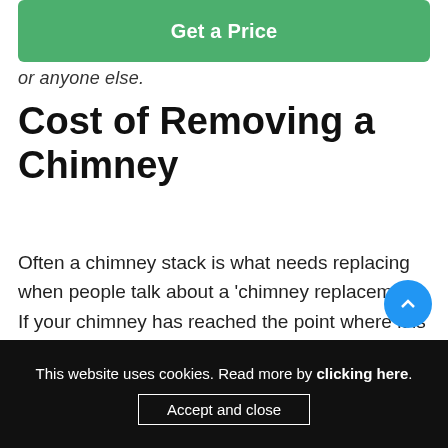[Figure (other): Green 'Get a Price' button]
or anyone else.
Cost of Removing a Chimney
Often a chimney stack is what needs replacing when people talk about a 'chimney replacement'. If your chimney has reached the point where it is no longer structurally sound and safe, and can't be repaired with repointing, you'll need
This website uses cookies. Read more by clicking here.  Accept and close